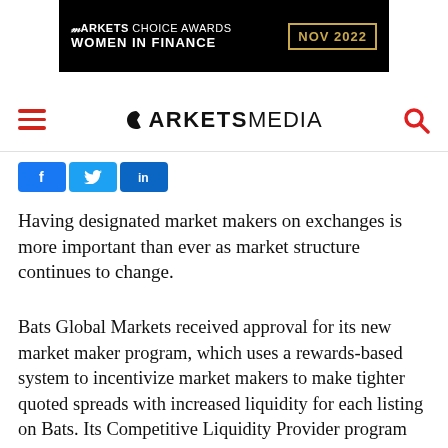[Figure (logo): Markets Choice Awards Women in Finance NOV 2022 banner ad on black background with gold border date box]
MARKETS MEDIA (logo with hamburger menu and search icon)
[Figure (other): Social media share buttons: Facebook, Twitter, LinkedIn]
Having designated market makers on exchanges is more important than ever as market structure continues to change.
Bats Global Markets received approval for its new market maker program, which uses a rewards-based system to incentivize market makers to make tighter quoted spreads with increased liquidity for each listing on Bats. Its Competitive Liquidity Provider program will